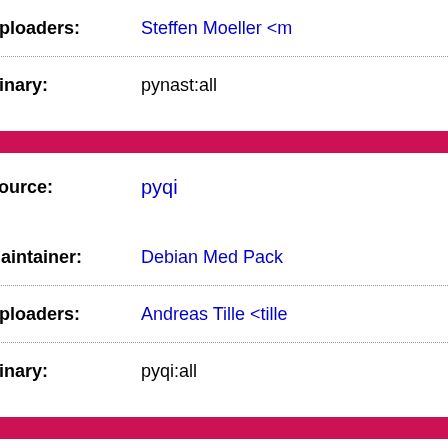| Field | Value |
| --- | --- |
| Uploaders: | Steffen Moeller <m... |
| Binary: | pynast:all |
| Field | Value |
| --- | --- |
| Source: | pyqi |
| Maintainer: | Debian Med Pack... |
| Uploaders: | Andreas Tille <tille... |
| Binary: | pyqi:all |
| Field | Value |
| --- | --- |
| Source: | pyscanfcs |
| Maintainer: | Debian Med Pack... |
| Uploaders: | Alexandre Mestias... |
| Binary: | pyscanfcs |
| Field | Value |
| --- | --- |
| Source: | python-avro |